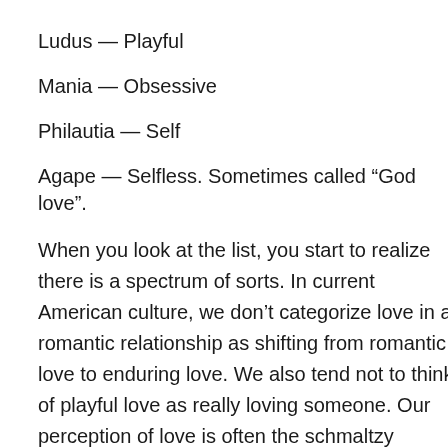Ludus — Playful
Mania — Obsessive
Philautia — Self
Agape — Selfless. Sometimes called “God love”.
When you look at the list, you start to realize there is a spectrum of sorts. In current American culture, we don’t categorize love in a romantic relationship as shifting from romantic love to enduring love. We also tend not to think of playful love as really loving someone. Our perception of love is often the schmaltzy Valentines Day kind of overly clear demonstrations of ‘love’ or the ‘love gone wrong’ of court tv and CSI/SVU kinds of shows. Have we really forgotten so much about love and how many ways there are to love?